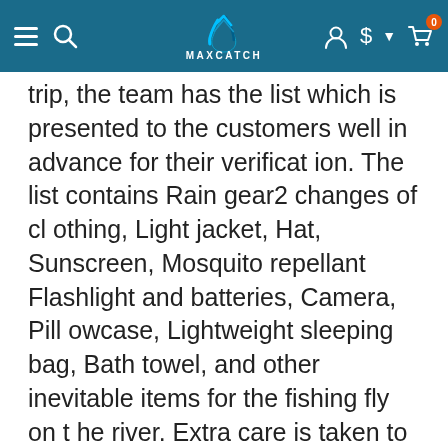MAXCATCH
trip, the team has the list which is presented to the customers well in advance for their verification. The list contains Rain gear2 changes of clothing, Light jacket, Hat, Sunscreen, Mosquito repellant Flashlight and batteries, Camera, Pillowcase, Lightweight sleeping bag, Bath towel, and other inevitable items for the fishing fly on the river. Extra care is taken to protect the privacy of customers.
The ontario outposts team where flight fly in fishing trips undertaken accept offers in plenty as pre-order before the trip is set out. The order includes alcohol, select beverages, check flights, phones seasoned firewood. However, the offici